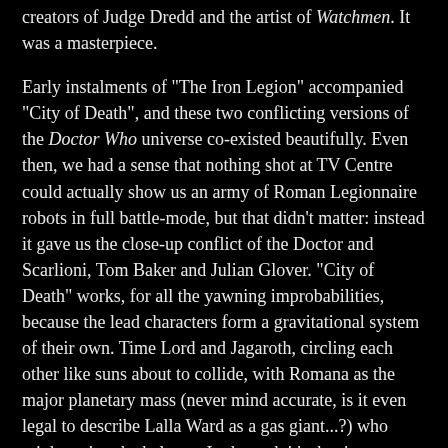creators of Judge Dredd and the artist of Watchmen. It was a masterpiece.
Early instalments of "The Iron Legion" accompanied "City of Death", and these two conflicting versions of the Doctor Who universe co-existed beautifully. Even then, we had a sense that nothing shot at TV Centre could actually show us an army of Roman Legionnaire robots in full battle-mode, but that didn't matter: instead it gave us the close-up conflict of the Doctor and Scarlioni, Tom Baker and Julian Glover. "City of Death" works, for all the yawning improbabilities, because the lead characters form a gravitational system of their own. Time Lord and Jagaroth, circling each other like suns about to collide, with Romana as the major planetary mass (never mind accurate, is it even legal to describe Lalla Ward as a gas giant...?) who might swing the balance. In the end, it's the tiny moon of Duggan that makes a difference. Matt Irving's effects are lovely book-ends, but not the main attraction, as they might be post-CGI. This isn't an epic, and doesn't try to be. "The Iron Legion", that's our mythology in epic form, with at least as much wit, invention, and humanity as what we considered "real". Before this point, no off-telly vision of Doctor Who could have claimed to be neck-and-neck with the BBC's. "The Fishmen of Kandalinga" would be a let-